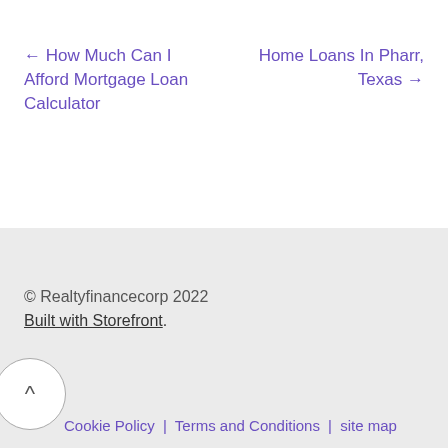← How Much Can I Afford Mortgage Loan Calculator
Home Loans In Pharr, Texas →
© Realtyfinancecorp 2022
Built with Storefront.
Cookie Policy | Terms and Conditions | site map